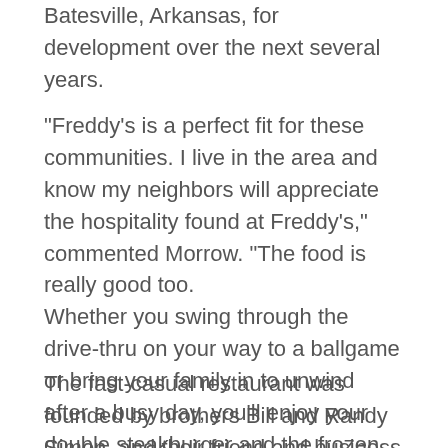Batesville, Arkansas, for development over the next several years.
"Freddy's is a perfect fit for these communities. I live in the area and know my neighbors will appreciate the hospitality found at Freddy's," commented Morrow. "The food is really good too.
Whether you swing through the drive-thru on your way to a ballgame or bring your family in to unwind after a busy day, you'll enjoy your double steakburger and the frozen custard will leave you with a smile on your face."
The fast-casual restaurant was founded by brothers Bill and Randy Simon, and their friend and business partner Scott